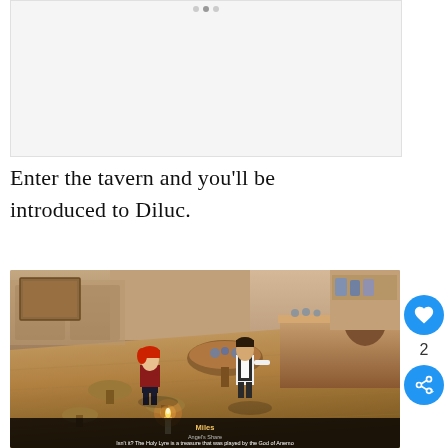[Figure (screenshot): Top portion of a game screenshot (Genshin Impact tavern scene, partially visible, mostly white/light background)]
Enter the tavern and you'll be introduced to Diluc.
[Figure (screenshot): Screenshot from Genshin Impact showing the interior of a tavern (Angel's Share). Two characters visible: one with red hair (Diluc) and another in white/black outfit. A subtitle bar at the bottom shows 'Miles' with role 'Angel's Share' and dialogue: "Isn't it? The Holy Lyre is a treasure that was played by the God of Anemo"]